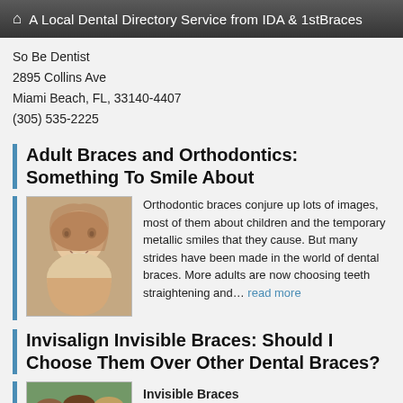A Local Dental Directory Service from IDA & 1stBraces
So Be Dentist
2895 Collins Ave
Miami Beach, FL, 33140-4407
(305) 535-2225
Adult Braces and Orthodontics: Something To Smile About
[Figure (photo): Photo of a young girl smiling with braces]
Orthodontic braces conjure up lots of images, most of them about children and the temporary metallic smiles that they cause. But many strides have been made in the world of dental braces. More adults are now choosing teeth straightening and… read more
Invisalign Invisible Braces: Should I Choose Them Over Other Dental Braces?
[Figure (photo): Photo of people smiling]
Invisible Braces